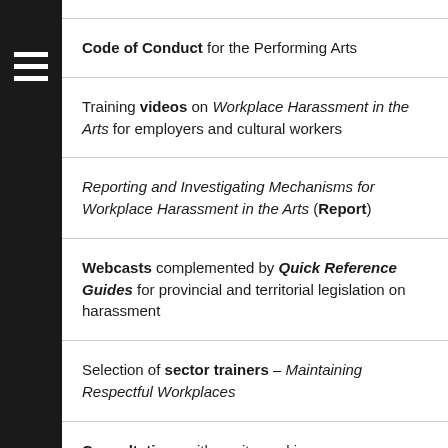Code of Conduct for the Performing Arts
Training videos on Workplace Harassment in the Arts for employers and cultural workers
Reporting and Investigating Mechanisms for Workplace Harassment in the Arts (Report)
Webcasts complemented by Quick Reference Guides for provincial and territorial legislation on harassment
Selection of sector trainers - Maintaining Respectful Workplaces
Consultations with equity-seeking groups across the country